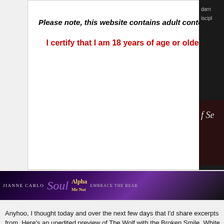Please note, this website contains adult content.
I certify that I am 18 years of age or older.
[Figure (illustration): Dark banner with author name Jianne Carlo, stylized Soul logo in purple, Alpha text in gold, and Embrace the Bear text]
Anyhoo, I thought today and over the next few days that I'd share excerpts from. Here's an unedited preview of The Wolf with the Broken Smile, White Wolf Boo
Blizzard conditions—check.
Transportation impossible—check.Being forced to spend the night at Chad Lex
“My sister keeps a few clothes here.”
The object of Lizzie White’s sexual fantasies for the last four months raked her boots. Her nipples sizzled under his intent stare. She prayed her feverish desire and clamped her mouth shut.
“She’s shorter than you.”